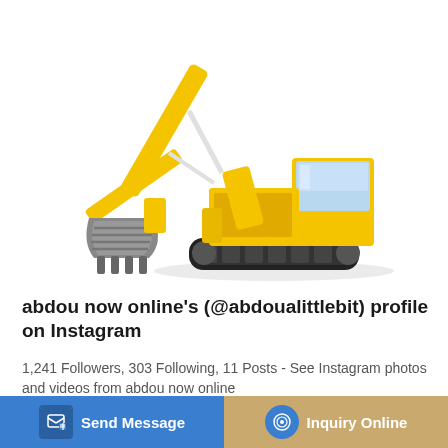[Figure (photo): Yellow Sinomarch crawler excavator with extended boom and grey bucket on white background]
abdou now online's (@abdoualittlebit) profile on Instagram
1,241 Followers, 303 Following, 11 Posts - See Instagram photos and videos from abdou now online
Send Message
Inquiry Online